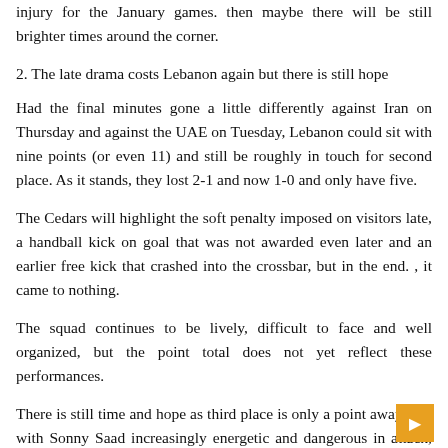injury for the January games. then maybe there will be still brighter times around the corner.
2. The late drama costs Lebanon again but there is still hope
Had the final minutes gone a little differently against Iran on Thursday and against the UAE on Tuesday, Lebanon could sit with nine points (or even 11) and still be roughly in touch for second place. As it stands, they lost 2-1 and now 1-0 and only have five.
The Cedars will highlight the soft penalty imposed on visitors late, a handball kick on goal that was not awarded even later and an earlier free kick that crashed into the crossbar, but in the end. , it came to nothing.
The squad continues to be lively, difficult to face and well organized, but the point total does not yet reflect these performances.
There is still time and hope as third place is only a point away, and with Sonny Saad increasingly energetic and dangerous in attack, anything can happen.